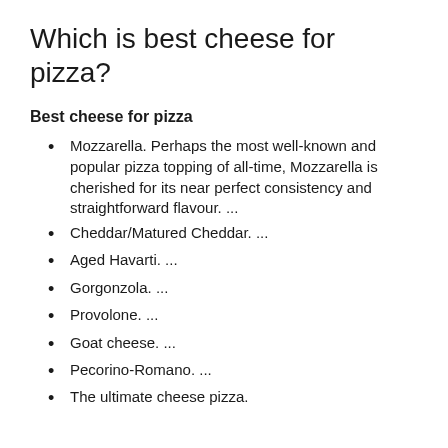Which is best cheese for pizza?
Best cheese for pizza
Mozzarella. Perhaps the most well-known and popular pizza topping of all-time, Mozzarella is cherished for its near perfect consistency and straightforward flavour. ...
Cheddar/Matured Cheddar. ...
Aged Havarti. ...
Gorgonzola. ...
Provolone. ...
Goat cheese. ...
Pecorino-Romano. ...
The ultimate cheese pizza.